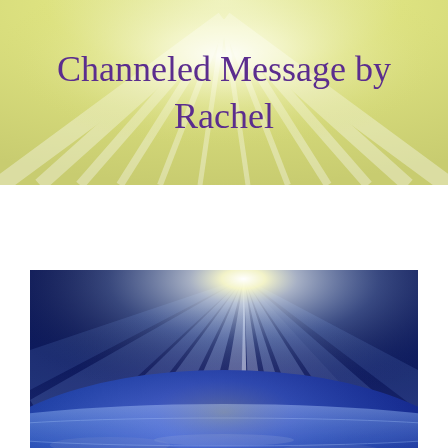Channeled Message by Rachel
[Figure (illustration): A dramatic image of Earth from space with brilliant rays of white and blue light bursting from the horizon, illuminating the planet's surface and atmosphere against a dark space background. The light creates a sunburst effect with multiple rays spreading upward and outward.]